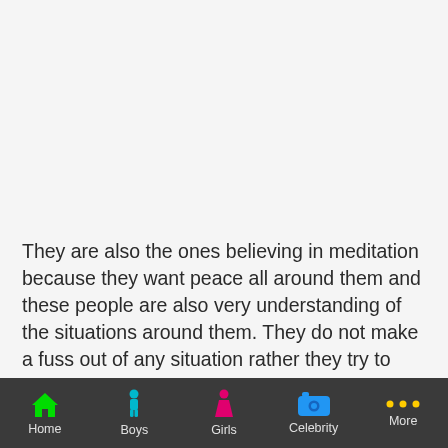They are also the ones believing in meditation because they want peace all around them and these people are also very understanding of the situations around them. They do not make a fuss out of any situation rather they try to solve it as much as possible.
What we know about Alishba
If you are looking for a name that is pretty sounding and is also popular and loved by everyone then you are at the right
Home | Boys | Girls | Celebrity | More